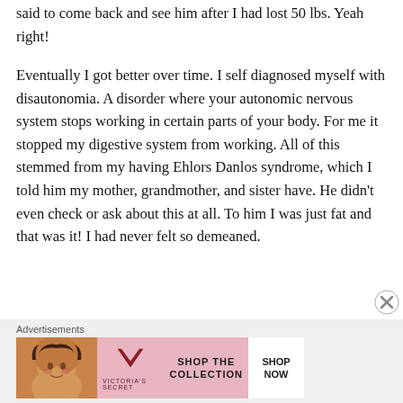said to come back and see him after I had lost 50 lbs. Yeah right!
Eventually I got better over time. I self diagnosed myself with disautonomia. A disorder where your autonomic nervous system stops working in certain parts of your body. For me it stopped my digestive system from working. All of this stemmed from my having Ehlors Danlos syndrome, which I told him my mother, grandmother, and sister have. He didn't even check or ask about this at all. To him I was just fat and that was it! I had never felt so demeaned.
Advertisements
[Figure (other): Victoria's Secret advertisement banner with model, VS logo, 'SHOP THE COLLECTION' text, and 'SHOP NOW' button]